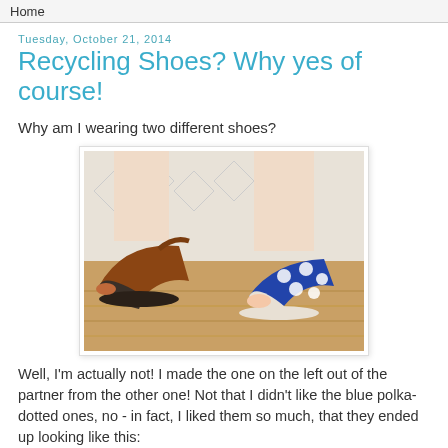Home
Tuesday, October 21, 2014
Recycling Shoes? Why yes of course!
Why am I wearing two different shoes?
[Figure (photo): Photo of two feet wearing two different shoes: left foot in a brown leather wedge sandal, right foot in a blue polka-dotted flat shoe, standing on a wooden floor.]
Well, I'm actually not! I made the one on the left out of the partner from the other one! Not that I didn't like the blue polka-dotted ones, no - in fact, I liked them so much, that they ended up looking like this: